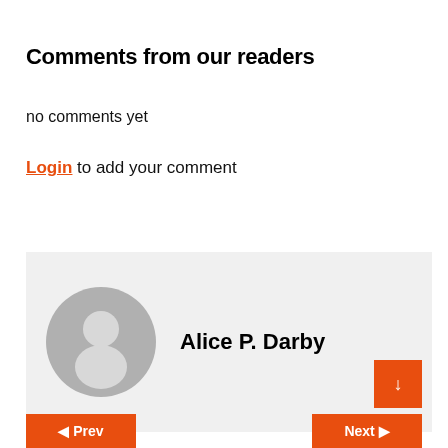Comments from our readers
no comments yet
Login to add your comment
[Figure (other): User profile card with avatar placeholder (grey circle with person silhouette) and name 'Alice P. Darby' on a light grey background]
Prev | Next navigation buttons